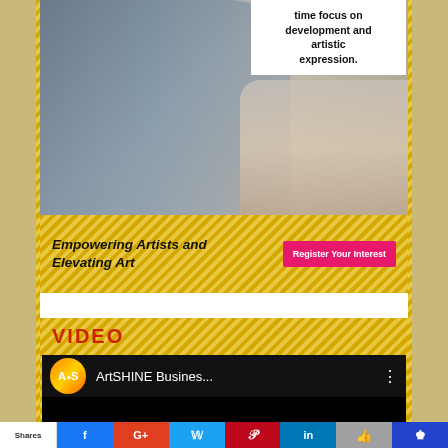[Figure (photo): Banner image showing a person (artist/instructor) working, with a white text box overlay reading 'time focus on development and artistic expression.' Diagonal stripe background at bottom with tagline 'Empowering Artists and Elevating Art' and a pink 'Register Your Interest' button.]
time focus on development and artistic expression.
Empowering Artists and Elevating Art
Register Your Interest
VIDEO
[Figure (screenshot): YouTube video thumbnail showing ArtSHINE Business... channel with orange/gold circular logo with 'A*S' text, video title 'ArtSHINE Busines...' on dark background.]
Shares | Facebook | Google+ | Twitter | Pinterest | LinkedIn | Like | Crown